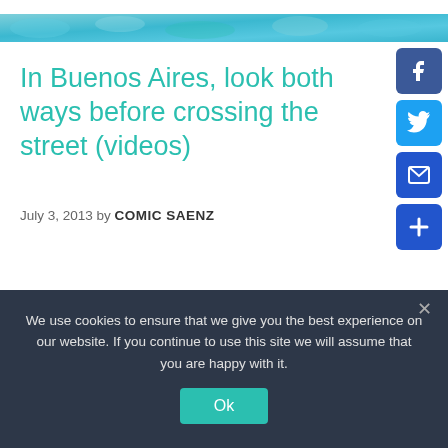[Figure (illustration): Decorative teal/cyan horizontal banner strip at top of page with abstract pattern]
In Buenos Aires, look both ways before crossing the street (videos)
July 3, 2013 by COMIC SAENZ
[Figure (illustration): Social media sharing buttons on right side: Facebook (blue), Twitter (light blue), Email (dark blue envelope), More/Add (dark blue plus)]
We use cookies to ensure that we give you the best experience on our website. If you continue to use this site we will assume that you are happy with it.